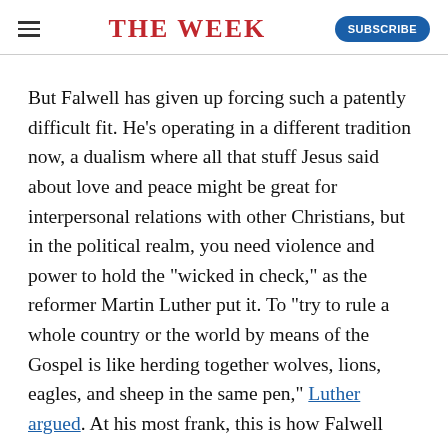THE WEEK
But Falwell has given up forcing such a patently difficult fit. He's operating in a different tradition now, a dualism where all that stuff Jesus said about love and peace might be great for interpersonal relations with other Christians, but in the political realm, you need violence and power to hold the "wicked in check," as the reformer Martin Luther put it. To "try to rule a whole country or the world by means of the Gospel is like herding together wolves, lions, eagles, and sheep in the same pen," Luther argued. At his most frank, this is how Falwell sees